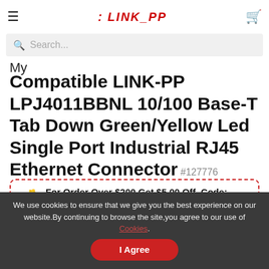LINK-PP (logo/header navigation)
My
Compatible LINK-PP LPJ4011BBNL 10/100 Base-T Tab Down Green/Yellow Led Single Port Industrial RJ45 Ethernet Connector #127776
For Order Over $200 Get $5.00 Off, Code: August
★★★★★ 12 Reviews | 1 Questions | Request Stock
$ 2.108
We use cookies to ensure that we give you the best experience on our website.By continuing to browse the site,you agree to our use of Cookies.